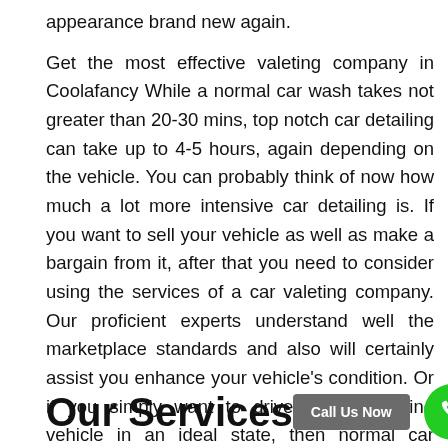appearance brand new again.
Get the most effective valeting company in Coolafancy While a normal car wash takes not greater than 20-30 mins, top notch car detailing can take up to 4-5 hours, again depending on the vehicle. You can probably think of now how much a lot more intensive car detailing is. If you want to sell your vehicle as well as make a bargain from it, after that you need to consider using the services of a car valeting company. Our proficient experts understand well the marketplace standards and also will certainly assist you enhance your vehicle's condition. Or if you simply want to drive a good-looking vehicle in an ideal state, then normal car valeting is what you need.
Our Services
Call Us Now